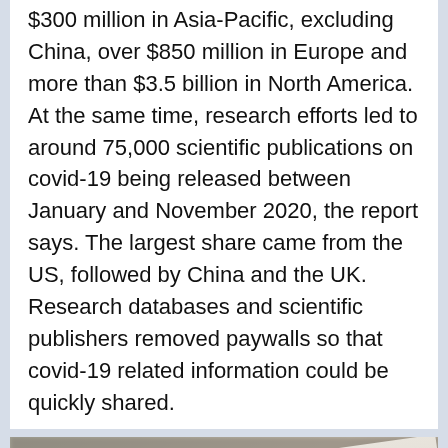$300 million in Asia-Pacific, excluding China, over $850 million in Europe and more than $3.5 billion in North America. At the same time, research efforts led to around 75,000 scientific publications on covid-19 being released between January and November 2020, the report says. The largest share came from the US, followed by China and the UK. Research databases and scientific publishers removed paywalls so that covid-19 related information could be quickly shared.
[Figure (photo): Close-up photo of a silver pen resting on printed documents with text and an orange highlighted section, on a desk.]